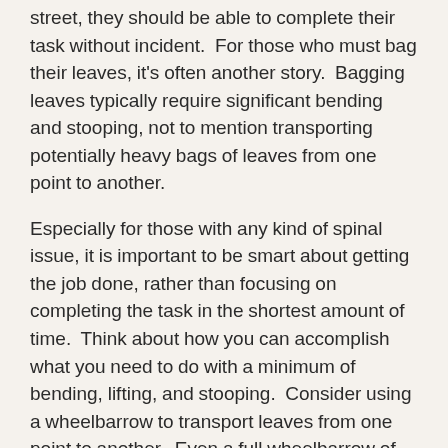street, they should be able to complete their task without incident. For those who must bag their leaves, it's often another story. Bagging leaves typically require significant bending and stooping, not to mention transporting potentially heavy bags of leaves from one point to another.
Especially for those with any kind of spinal issue, it is important to be smart about getting the job done, rather than focusing on completing the task in the shortest amount of time. Think about how you can accomplish what you need to do with a minimum of bending, lifting, and stooping. Consider using a wheelbarrow to transport leaves from one point to another. Even a full wheelbarrow of leaves is lightweight as compared to carrying a heavy bag of leaves. Don't overfill leaf bags with the hope it might shorten the length of the overall task. If a bag still seems heavy, try dragging it rather than lifting and carrying it, to get it to its final destination. If you do have to lift anything, practice good lifting techniques. That means squatting